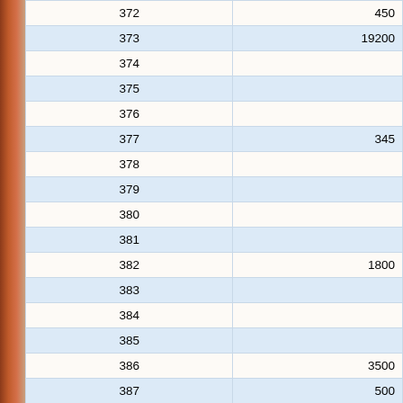|  |  |
| --- | --- |
| 372 | 450 |
| 373 | 19200 |
| 374 |  |
| 375 |  |
| 376 |  |
| 377 | 345 |
| 378 |  |
| 379 |  |
| 380 |  |
| 381 |  |
| 382 | 1800 |
| 383 |  |
| 384 |  |
| 385 |  |
| 386 | 3500 |
| 387 | 500 |
| 388 |  |
| 389 |  |
| 390 |  |
| 391 | 600 |
| 392 |  |